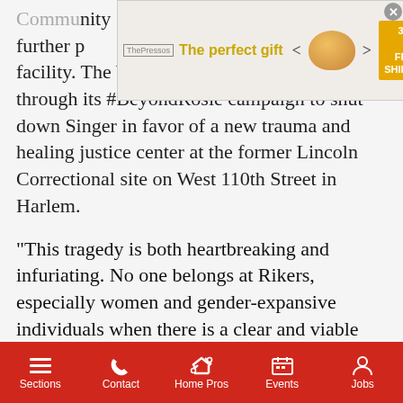[Figure (other): Advertisement banner: 'The perfect gift' with bowl image, navigation arrows, 35%+ Free Shipping promo, and close button]
Community ... death further p... ger facility. The WCJA has been advocating through its #BeyondRosie campaign to shut down Singer in favor of a new trauma and healing justice center at the former Lincoln Correctional site on West 110th Street in Harlem.
“This tragedy is both heartbreaking and infuriating. No one belongs at Rikers, especially women and gender-expansive individuals when there is a clear and viable alternative that would end the decades of torture and suffering,” White-Harrigan said in a statement. “Governor Hochul and Mayor Adams must act quickly to transform the dormant Lincoln Correctional site at West 110th
Sections | Contact | Home Pros | Events | Jobs